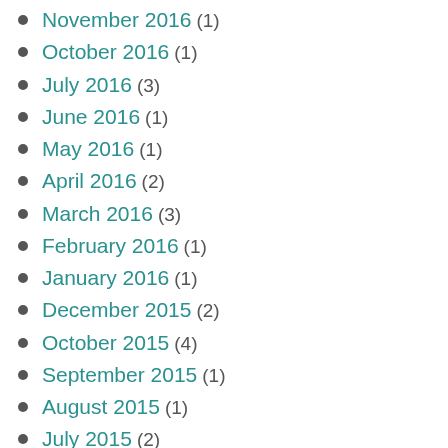November 2016 (1)
October 2016 (1)
July 2016 (3)
June 2016 (1)
May 2016 (1)
April 2016 (2)
March 2016 (3)
February 2016 (1)
January 2016 (1)
December 2015 (2)
October 2015 (4)
September 2015 (1)
August 2015 (1)
July 2015 (2)
June 2015 (3)